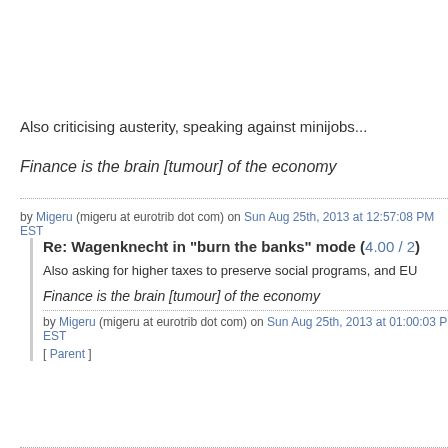Also criticising austerity, speaking against minijobs...
Finance is the brain [tumour] of the economy
by Migeru (migeru at eurotrib dot com) on Sun Aug 25th, 2013 at 12:57:08 PM EST
Re: Wagenknecht in "burn the banks" mode (4.00 / 2)
Also asking for higher taxes to preserve social programs, and EU
Finance is the brain [tumour] of the economy
by Migeru (migeru at eurotrib dot com) on Sun Aug 25th, 2013 at 01:00:03 PM EST
[ Parent ]